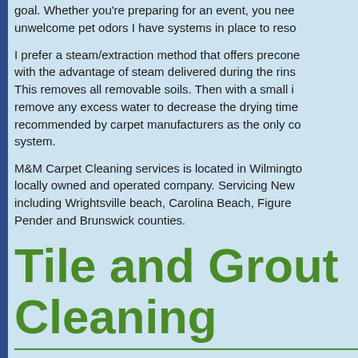goal. Whether you're preparing for an event, you nee unwelcome pet odors I have systems in place to reso
I prefer a steam/extraction method that offers precone with the advantage of steam delivered during the rins This removes all removable soils. Then with a small i remove any excess water to decrease the drying time recommended by carpet manufacturers as the only co system.
M&M Carpet Cleaning services is located in Wilmingto locally owned and operated company. Servicing New including Wrightsville beach, Carolina Beach, Figure Pender and Brunswick counties.
Tile and Grout Cleaning
Today tile is in residential and